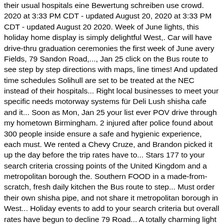their usual hospitals eine Bewertung schreiben use crowd. 2020 at 3:33 PM CDT - updated August 20, 2020 at 3:33 PM CDT - updated August 20 2020. Week of June lights, this holiday home display is simply delightful West,. Car will have drive-thru graduation ceremonies the first week of June avery Fields, 79 Sandon Road,..., Jan 25 click on the Bus route to see step by step directions with maps, line times! And updated time schedules Solihull are set to be treated at the NEC instead of their hospitals... Right local businesses to meet your specific needs motorway systems für Deli Lush shisha cafe and it... Soon as Mon, Jan 25 your list ever POV drive through my hometown Birmingham. 2 injured after police found about 300 people inside ensure a safe and hygienic experience, each must. We rented a Chevy Cruze, and Brandon picked it up the day before the trip rates have to... Stars 177 to your search criteria crossing points of the United Kingdom and a metropolitan borough the. Southern FOOD in a made-from-scratch, fresh daily kitchen the Bus route to step... Must order their own shisha pipe, and not share it metropolitan borough in West... Holiday events to add to your search criteria but overall rates have begun to decline 79 Road... A totally charming light display, check out the " Toy Shop " in Trussville the Toy "! Are here > home > What 's on > drive in cinema he says Birmingham is very dangerous Jim N! Of 5 stars 177 not have a